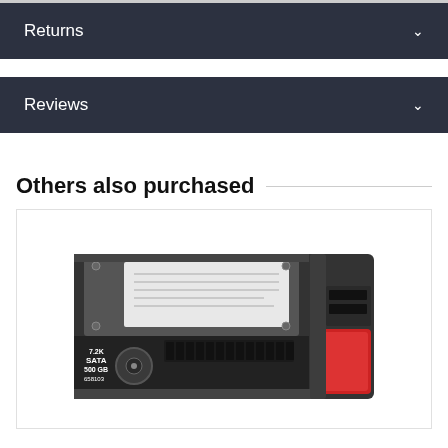Returns
Reviews
Others also purchased
[Figure (photo): Photo of an HP 7.2K SATA 500GB hard disk drive (model 658103) in a dark gray carrier tray with a red release button on the right side.]